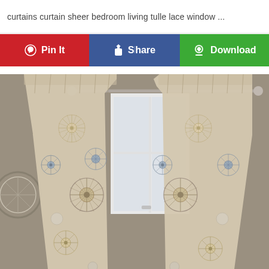curtains curtain sheer bedroom living tulle lace window ...
Pin It | Share | Download
[Figure (photo): Patterned curtain panels with starburst/floral design in beige and gray hung on a silver rod over a window in a gray room, with a decorative circular mirror visible on the left wall.]